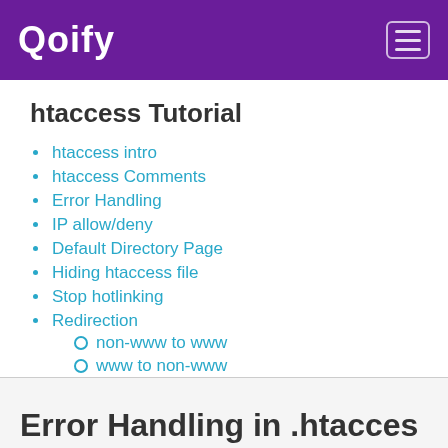Qoify
htaccess Tutorial
htaccess intro
htaccess Comments
Error Handling
IP allow/deny
Default Directory Page
Hiding htaccess file
Stop hotlinking
Redirection
non-www to www
www to non-www
Password Protection
Error Handling in .htaccess